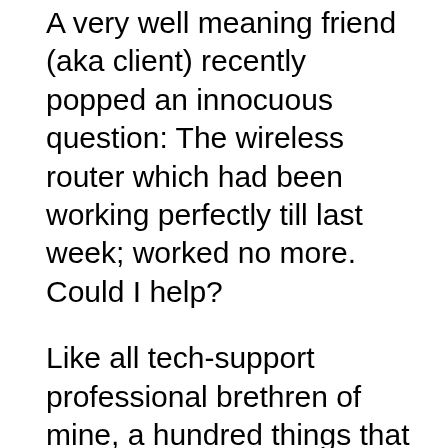A very well meaning friend (aka client) recently popped an innocuous question: The wireless router which had been working perfectly till last week; worked no more. Could I help?
Like all tech-support professional brethren of mine, a hundred things that could go wrong; and hundred & ten ways to fix the issues instantly popped to my mind. The only quick fix of recycling the power to the device had already been tried out autonomously by my client. Clients are getting quite tech savvy these days. All other solutions either required me to be on the phone for extended periods on a late Saturday evening or request the client to come over to my place with the device. I chose the later as the lesser of two